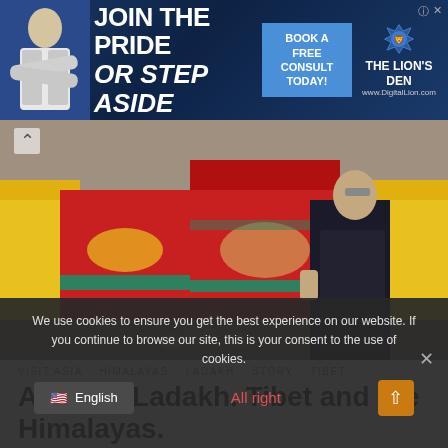[Figure (photo): Advertisement banner: man in suit on blue background with text JOIN THE PRIDE OR STEP ASIDE, BOOK A FREE CONSULT TODAY!, The Lion's Den logo and www.DigitalLion.com]
[Figure (photo): Photo of a person in black robes standing next to colorful Buddhist prayer wheels painted yellow, red, and pink]
VISIT ASIA   HIMALAYAS   LADAKH   STORY   TIBET
A trip to Ladakh. Tibet and the Himalayas.
We use cookies to ensure you get the best experience on our website. If you continue to browse our site, this is your consent to the use of cookies.
All right
English